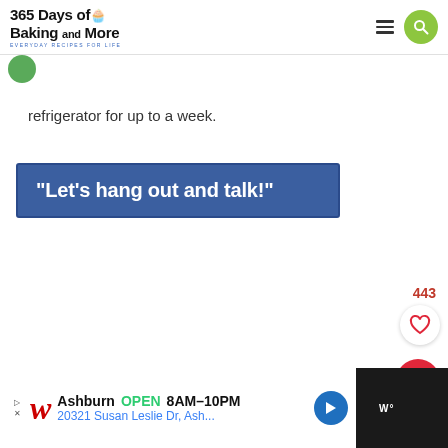365 Days of Baking and More — EVERYDAY RECIPES FOR LIFE
refrigerator for up to a week.
“Let’s hang out and talk!”
443
Ashburn OPEN 8AM–10PM 20321 Susan Leslie Dr, Ash...